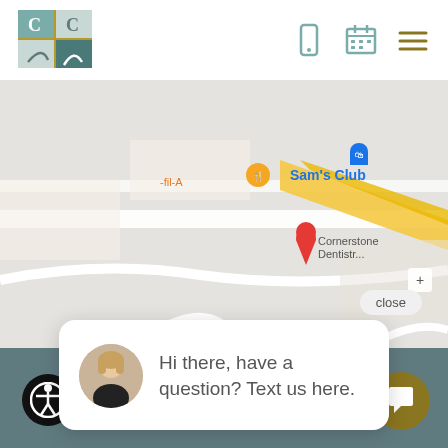[Figure (logo): Cornerstone Dentistry logo — four-square grid with leaf/c shapes in teal and gold tones]
[Figure (screenshot): Google Maps screenshot showing area near Sam's Club, Chick-fil-A, with a red location pin for Cornerstone Dentistry]
close
Hi there, have a question? Text us here.
@ Cornerstone Dentistry 2022  Website by  Wonderist Agency  |  Privacy Po...